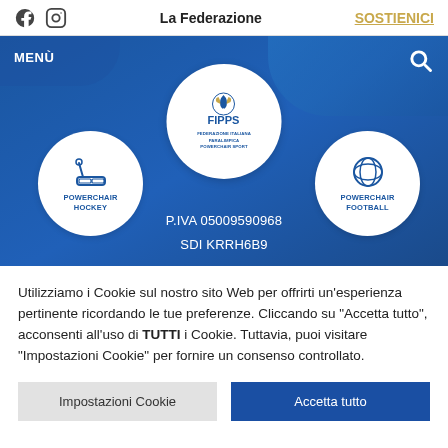La Federazione | SOSTIENICI
[Figure (screenshot): FIPPS website hero banner with blue background, FIPPS logo circle in center, Powerchair Hockey circle on left, Powerchair Football circle on right, and partial text showing P.IVA 05009590968 and SDI KRRH6B9]
Utilizziamo i Cookie sul nostro sito Web per offrirti un'esperienza pertinente ricordando le tue preferenze. Cliccando su "Accetta tutto", acconsenti all'uso di TUTTI i Cookie. Tuttavia, puoi visitare "Impostazioni Cookie" per fornire un consenso controllato.
Impostazioni Cookie | Accetta tutto